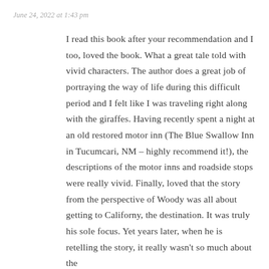June 24, 2022 at 1:43 pm
I read this book after your recommendation and I too, loved the book. What a great tale told with vivid characters. The author does a great job of portraying the way of life during this difficult period and I felt like I was traveling right along with the giraffes. Having recently spent a night at an old restored motor inn (The Blue Swallow Inn in Tucumcari, NM – highly recommend it!), the descriptions of the motor inns and roadside stops were really vivid. Finally, loved that the story from the perspective of Woody was all about getting to Californy, the destination. It was truly his sole focus. Yet years later, when he is retelling the story, it really wasn't so much about the